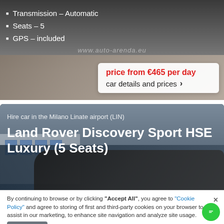[Figure (photo): Top portion of a black SUV car listing card with dark background and paving stones visible beneath]
Transmission – Automatic
Seats – 5
GPS – included
price from €465 per day
car details and prices ›
[Figure (photo): Black Land Rover Discovery Sport HSE Luxury parked in front of a building with blue-framed windows]
Hire car in the Milano Linate airport (LIN)
Land Rover Discovery Sport HSE Luxury (5 Seats)
By continuing to browse or by clicking "Accept All", you agree to "Cookie Policy" and agree to storing of first and third-party cookies on your browser to assist in our marketing, to enhance site navigation and analyze site usage.
Accept All